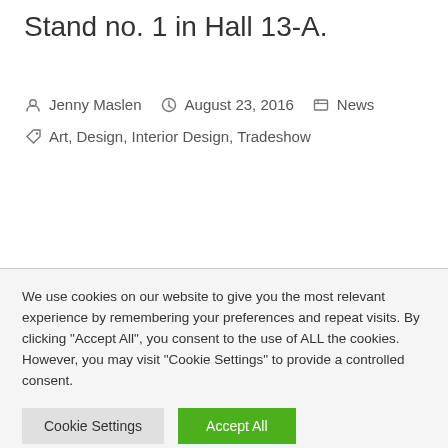Stand no. 1 in Hall 13-A.
By Jenny Maslen  August 23, 2016  News  Tags: Art, Design, Interior Design, Tradeshow
We use cookies on our website to give you the most relevant experience by remembering your preferences and repeat visits. By clicking "Accept All", you consent to the use of ALL the cookies. However, you may visit "Cookie Settings" to provide a controlled consent.